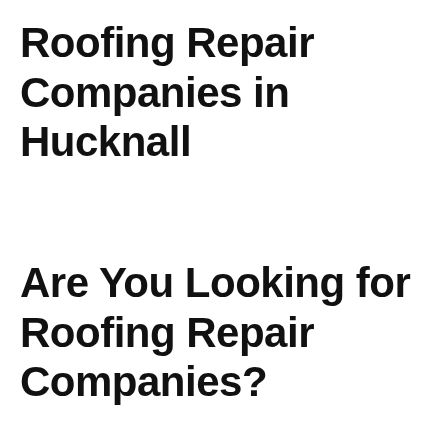Roofing Repair Companies in Hucknall
Are You Looking for Roofing Repair Companies?